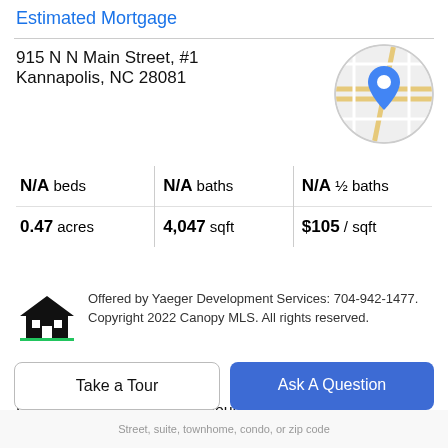Estimated Mortgage
915 N N Main Street, #1
Kannapolis, NC 28081
[Figure (map): Circular map thumbnail showing street map with a blue location pin marker]
| N/A beds | N/A baths | N/A ½ baths |
| 0.47 acres | 4,047 sqft | $105 / sqft |
Offered by Yaeger Development Services: 704-942-1477. Copyright 2022 Canopy MLS. All rights reserved.
Property Description
Looking for flex/office warehouse space that can become your own creation with a little work! Look no further than
Take a Tour
Ask A Question